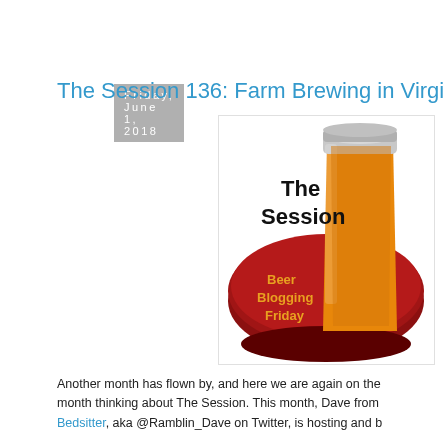Friday, June 1, 2018
The Session 136: Farm Brewing in Virgi...
[Figure (illustration): The Session Beer Blogging Friday logo: a tall glass of amber beer on a dark red circular coaster with text 'The Session' in black and 'Beer Blogging Friday' in orange/yellow]
Another month has flown by, and here we are again on the month thinking about The Session. This month, Dave from Bedsitter, aka @Ramblin_Dave on Twitter, is hosting and b...